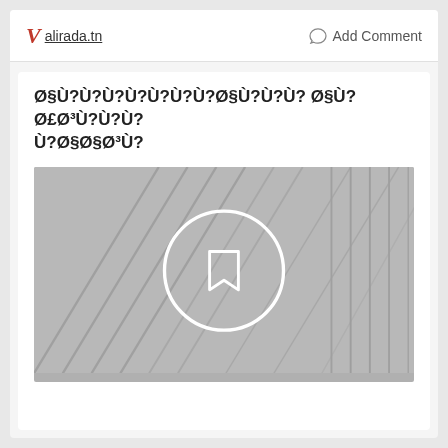alirada.tn   Add Comment
Ø§Ù?Ù?Ù?Ù?Ù?Ù?Ù?Ø§Ù?Ù?Ù? Ø§Ù?Ø£Ø³Ù?Ù?Ù? Ù?Ø§Ø³Ù?
[Figure (photo): Gray architectural image with a circular bookmark icon overlay in the center]